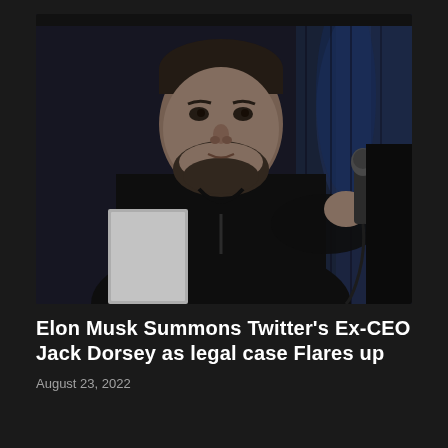[Figure (photo): A man with a beard wearing a black t-shirt holding a microphone at what appears to be a conference or panel event. The background shows dark curtains with blue lighting. The man appears to be Jack Dorsey.]
Elon Musk Summons Twitter's Ex-CEO Jack Dorsey as legal case Flares up
August 23, 2022